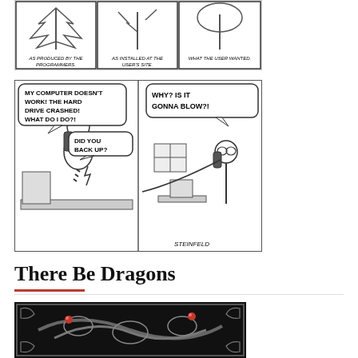[Figure (illustration): Three-panel comic strip: 'As produced by the programmers', 'As installed at the user's site', 'What the user wanted' — showing a tree in different states]
[Figure (illustration): Two-panel comic strip by Steinfeld. Left panel: panicked man at computer saying 'My computer doesn't work! The hard drive crashed! What do I do?!' and someone replies 'Did you back up?' Right panel: man on phone saying 'Why? Is it gonna blow?!']
There Be Dragons
[Figure (photo): Dark ornate metallic dragon decoration/relief with red jeweled eyes on a black background]